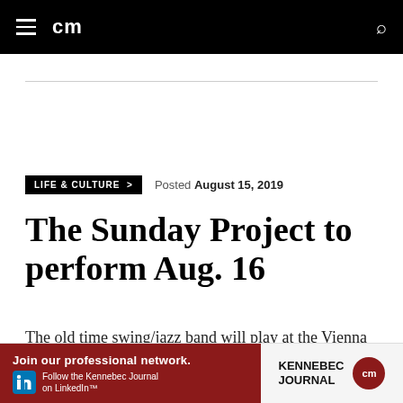cm
LIFE & CULTURE >  Posted August 15, 2019
The Sunday Project to perform Aug. 16
The old time swing/jazz band will play at the Vienna Union Hall.
[Figure (other): Advertisement banner: Join our professional network. Follow the Kennebec Journal on LinkedIn. Kennebec Journal logo with cm circle logo.]